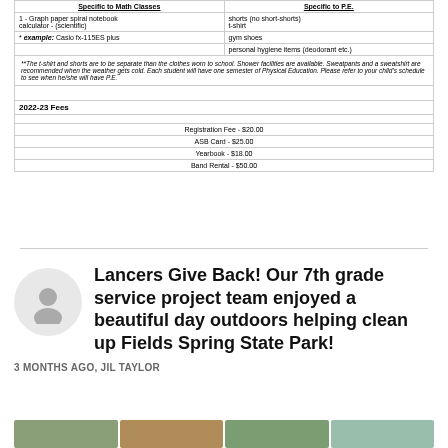| Specific to Math Classes | Specific to P.E. |
| --- | --- |
| 1 - Graph paper spiral notebook
calculator - (scientific) | shorts (no short-shorts)
t-shirt |
| * example:   Casio fx-115ES plus | gym shoes |
|  | personal hygiene items (deodorant etc.) |
| **The t-shirt and shorts are to be separate than the clothes worn to school. Shower facilities are available. Sweatpants and a sweatshirt are recommended when the weather gets cold. Each student will have one semester of Physical Education. Please refer to your child's schedule to see when he/she will have P.E. |  |
| 2022-23 Fees |  |
| Registration Fee - $20.00 |  |
| ASB Card - $25.00 |  |
| Yearbook - $18.00 |  |
| Band Rental - $50.00 |  |
Lancers Give Back! Our 7th grade service project team enjoyed a beautiful day outdoors helping clean up Fields Spring State Park!
3 MONTHS AGO, JIL TAYLOR
[Figure (photo): Four thumbnail photos of a park/outdoor setting at the bottom of the page]